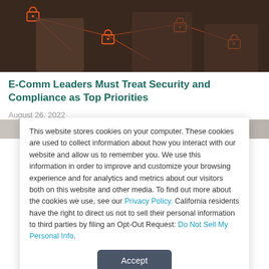[Figure (photo): Hero image showing people interacting with digital security icons — orange padlocks and network lines on dark background]
E-Comm Leaders Must Treat Security and Compliance as Top Priorities
August 26, 2022
[Figure (photo): Partial second article image showing a document or spreadsheet, mostly cropped]
This website stores cookies on your computer. These cookies are used to collect information about how you interact with our website and allow us to remember you. We use this information in order to improve and customize your browsing experience and for analytics and metrics about our visitors both on this website and other media. To find out more about the cookies we use, see our Privacy Policy. California residents have the right to direct us not to sell their personal information to third parties by filing an Opt-Out Request: Do Not Sell My Personal Info.
Accept